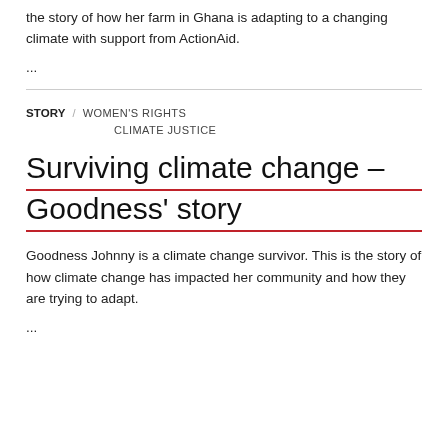the story of how her farm in Ghana is adapting to a changing climate with support from ActionAid.
...
STORY / WOMEN'S RIGHTS CLIMATE JUSTICE
Surviving climate change – Goodness' story
Goodness Johnny is a climate change survivor. This is the story of how climate change has impacted her community and how they are trying to adapt.
...